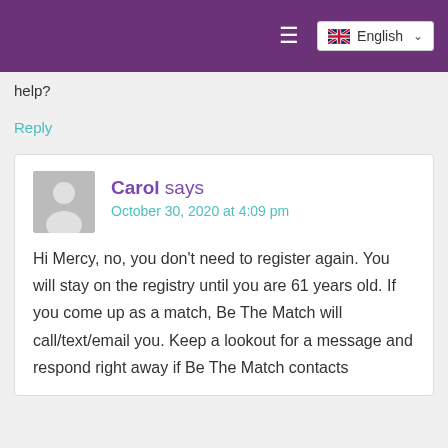☰ English
help?
Reply
Carol says
October 30, 2020 at 4:09 pm

Hi Mercy, no, you don't need to register again. You will stay on the registry until you are 61 years old. If you come up as a match, Be The Match will call/text/email you. Keep a lookout for a message and respond right away if Be The Match contacts